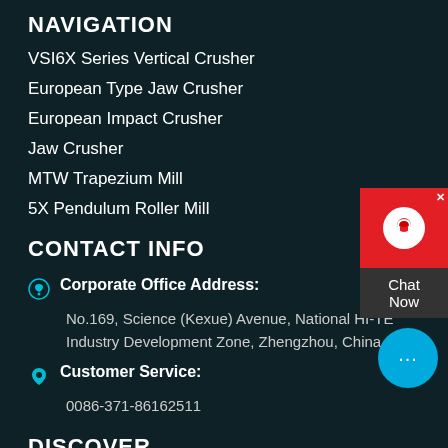NAVIGATION
VSI6X Series Vertical Crusher
European Type Jaw Crusher
European Impact Crusher
Jaw Crusher
MTW Trapezium Mill
5X Pendulum Roller Mill
CONTACT INFO
Corporate Office Address: No.169, Science (Kexue) Avenue, National HI-TE Industry Development Zone, Zhengzhou, China
Customer Service: 0086-371-86162511
DISCOVER
[Figure (other): Chat widget with red background, headphone icon, and 'Chat Now' label in dark box]